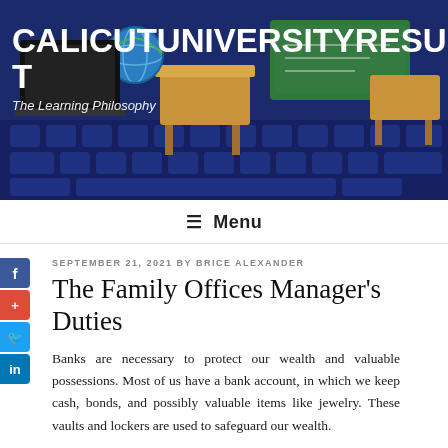[Figure (photo): Website header image showing a classroom scene with desks, a chalkboard, a globe, and a keyboard background. White bold text reads CALICUTUNIVERSITYRESULT. Subtitle reads The Learning Philosophy.]
≡ Menu
SEPTEMBER 21, 2021 BY BRICE ALEXANDER
The Family Offices Manager's Duties
Banks are necessary to protect our wealth and valuable possessions. Most of us have a bank account, in which we keep cash, bonds, and possibly valuable items like jewelry. These vaults and lockers are used to safeguard our wealth.